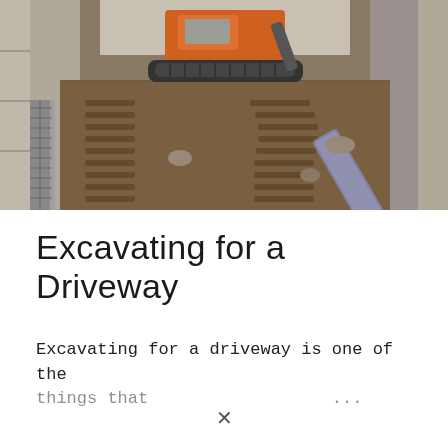[Figure (photo): Construction site photograph showing a small excavator/mini digger with orange body working between two concrete or brick walls. The ground shows disturbed earth and mud with excavator track marks. A metal drainage channel or grate is visible on the left side, and a metal pipe or conduit runs diagonally on the right. The scene depicts active driveway excavation work.]
Excavating for a Driveway
Excavating for a driveway is one of the things that ...